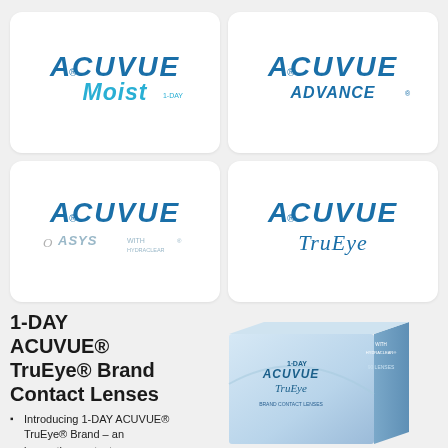[Figure (logo): ACUVUE MOIST brand logo in blue italic text]
[Figure (logo): ACUVUE ADVANCE brand logo in blue italic text]
[Figure (logo): ACUVUE OASYS brand logo in blue italic text]
[Figure (logo): ACUVUE TruEye brand logo in blue italic text]
1-DAY ACUVUE® TruEye® Brand Contact Lenses
Introducing 1-DAY ACUVUE® TruEye® Brand – an innovative contact
[Figure (photo): 1-DAY ACUVUE TruEye contact lens box packaging]